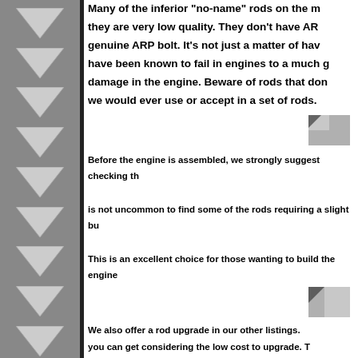[Figure (illustration): Gray sidebar with chevron/arrow decorations pointing downward, on the left edge of the page]
Many of the inferior "no-name" rods on the market are inferior because they are very low quality. They don't have ARP bolts or they don't have a genuine ARP bolt. It's not just a matter of having an ARP bolt, the bolts have been known to fail in engines to a much greater degree causing more damage in the engine. Beware of rods that don't meet the standards that we would ever use or accept in a set of rods.
[Figure (photo): Small image placeholder (torn/folded page icon)]
Before the engine is assembled, we strongly suggest checking th... is not uncommon to find some of the rods requiring a slight bu... This is an excellent choice for those wanting to build the engine...
[Figure (photo): Small image placeholder (torn/folded page icon)]
We also offer a rod upgrade in our other listings. you can get considering the low cost to upgrade. T much lighter and have been cnc profiled and shot personal favorite for many reasons, but mostly the the rotational and reciprocating mass to a conside